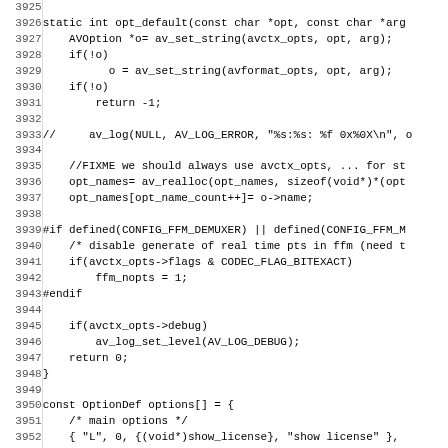Source code listing lines 3925-3956+, showing C code for opt_default function and OptionDef options array initialization.